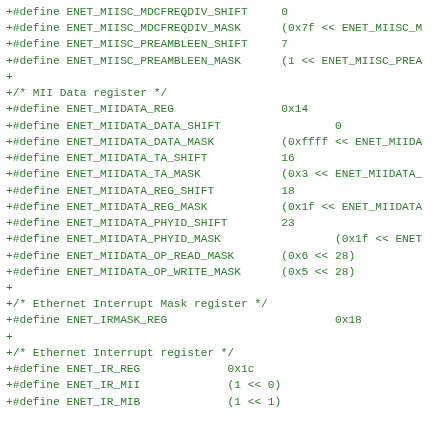+#define ENET_MIISC_MDCFREQDIV_SHIFT	0
+#define ENET_MIISC_MDCFREQDIV_MASK	(0x7f << ENET_MIISC_M
+#define ENET_MIISC_PREAMBLEEN_SHIFT	7
+#define ENET_MIISC_PREAMBLEEN_MASK	(1 << ENET_MIISC_PREA
+
+/* MII Data register */
+#define ENET_MIIDATA_REG	0x14
+#define ENET_MIIDATA_DATA_SHIFT		0
+#define ENET_MIIDATA_DATA_MASK	(0xffff << ENET_MIIDA
+#define ENET_MIIDATA_TA_SHIFT	16
+#define ENET_MIIDATA_TA_MASK	(0x3 << ENET_MIIDATA_
+#define ENET_MIIDATA_REG_SHIFT	18
+#define ENET_MIIDATA_REG_MASK	(0x1f << ENET_MIIDATA
+#define ENET_MIIDATA_PHYID_SHIFT	23
+#define ENET_MIIDATA_PHYID_MASK		(0x1f << ENET
+#define ENET_MIIDATA_OP_READ_MASK	(0x6 << 28)
+#define ENET_MIIDATA_OP_WRITE_MASK	(0x5 << 28)
+
+/* Ethernet Interrupt Mask register */
+#define ENET_IRMASK_REG			0x18
+
+/* Ethernet Interrupt register */
+#define ENET_IR_REG	0x1c
+#define ENET_IR_MII	(1 << 0)
+#define ENET_IR_MIB	(1 << 1)